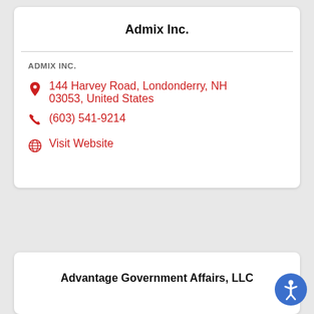Admix Inc.
ADMIX INC.
144 Harvey Road, Londonderry, NH 03053, United States
(603) 541-9214
Visit Website
Advantage Government Affairs, LLC